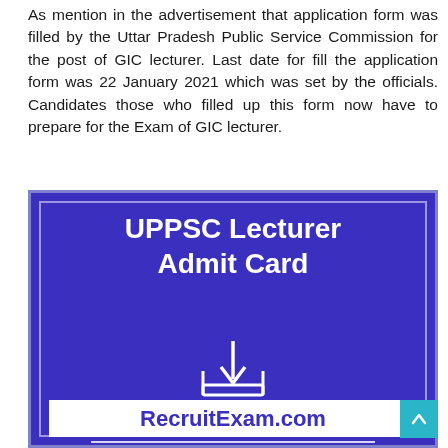As mention in the advertisement that application form was filled by the Uttar Pradesh Public Service Commission for the post of GIC lecturer. Last date for fill the application form was 22 January 2021 which was set by the officials. Candidates those who filled up this form now have to prepare for the Exam of GIC lecturer.
[Figure (infographic): Purple banner with white border containing text 'UPPSC Lecturer Admit Card' with a download icon, horizontal lines, and 'RecruitExam.com' at the bottom in a white box]